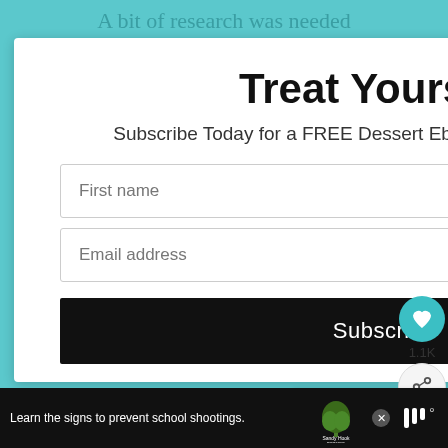A bit of research was needed
Treat Yourself!
Subscribe Today for a FREE Dessert Ebook and weekly recipes!
First name
Email address
Subscribe
1.1K
WHAT'S NEXT → Jamaican Brown Stew...
Learn the signs to prevent school shootings.